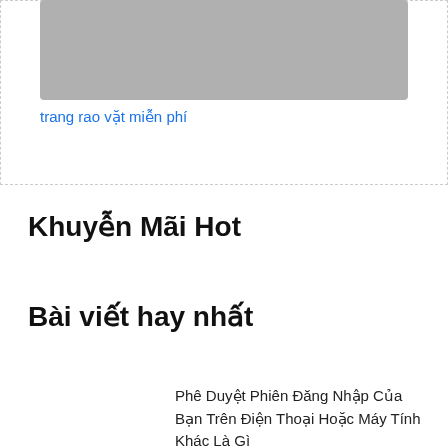[Figure (other): Gray banner/image placeholder at the top of the page]
trang rao vặt miễn phí
Khuyễn Mãi Hot
Bài viết hay nhất
Phê Duyệt Phiên Đăng Nhập Của Bạn Trên Điện Thoại Hoặc Máy Tính Khác Là Gì